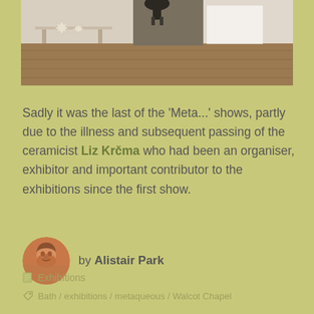[Figure (photo): Top portion of a photo showing an interior gallery/exhibition space with wooden floor, white walls, a shelf or table with star-shaped ceramic objects visible on the left, and a doorway or opening visible in the center-right.]
Sadly it was the last of the 'Meta...' shows, partly due to the illness and subsequent passing of the ceramicist Liz Krčma who had been an organiser, exhibitor and important contributor to the exhibitions since the first show.
by Alistair Park
Exhibitions
Bath / exhibitions / metaqueous / Walcot Chapel